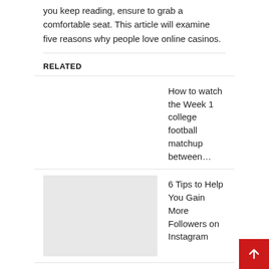you keep reading, ensure to grab a comfortable seat. This article will examine five reasons why people love online casinos.
RELATED
How to watch the Week 1 college football matchup between…
[Figure (photo): Thumbnail image placeholder (light gray box)]
6 Tips to Help You Gain More Followers on Instagram
How Kim Kardashian gently tweaks her body photographs is…
Domhnall Gleeson plays a serial killer in t…